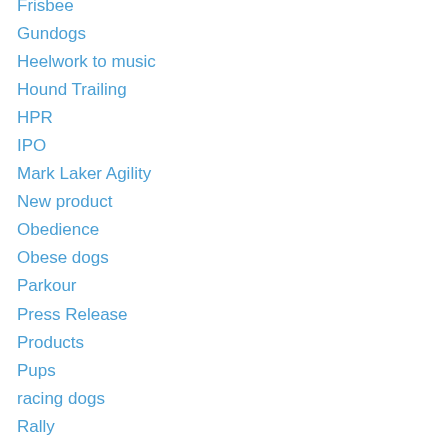Frisbee
Gundogs
Heelwork to music
Hound Trailing
HPR
IPO
Mark Laker Agility
New product
Obedience
Obese dogs
Parkour
Press Release
Products
Pups
racing dogs
Rally
Search and Rescue
Sheepdogs
Show cats
Show Dogs